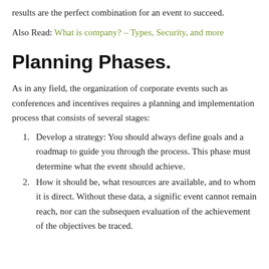results are the perfect combination for an event to succeed.
Also Read: What is company? – Types, Security, and more
Planning Phases.
As in any field, the organization of corporate events such as conferences and incentives requires a planning and implementation process that consists of several stages:
Develop a strategy: You should always define goals and a roadmap to guide you through the process. This phase must determine what the event should achieve.
How it should be, what resources are available, and to whom it is direct. Without these data, a significant event cannot remain reach, nor can the subsequent evaluation of the achievement of the objectives be traced.